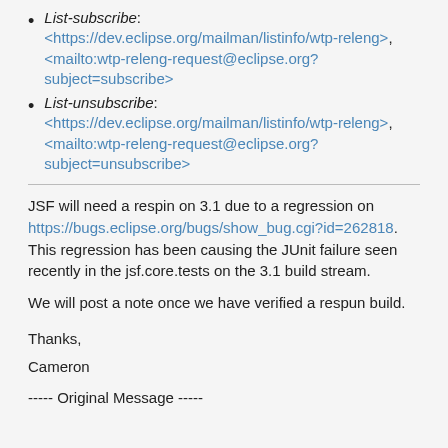List-subscribe: <https://dev.eclipse.org/mailman/listinfo/wtp-releng>, <mailto:wtp-releng-request@eclipse.org?subject=subscribe>
List-unsubscribe: <https://dev.eclipse.org/mailman/listinfo/wtp-releng>, <mailto:wtp-releng-request@eclipse.org?subject=unsubscribe>
JSF will need a respin on 3.1 due to a regression on https://bugs.eclipse.org/bugs/show_bug.cgi?id=262818.  This regression has been causing the JUnit failure seen recently in the jsf.core.tests on the 3.1 build stream.
We will post a note once we have verified a respun build.
Thanks,
Cameron
----- Original Message -----